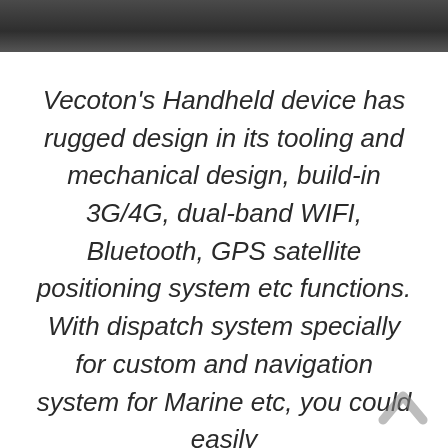[Figure (other): Dark gray textured top bar/header band]
Vecoton's Handheld device has rugged design in its tooling and mechanical design, build-in 3G/4G, dual-band WIFI, Bluetooth, GPS satellite positioning system etc functions. With dispatch system specially for custom and navigation system for Marine etc, you could easily